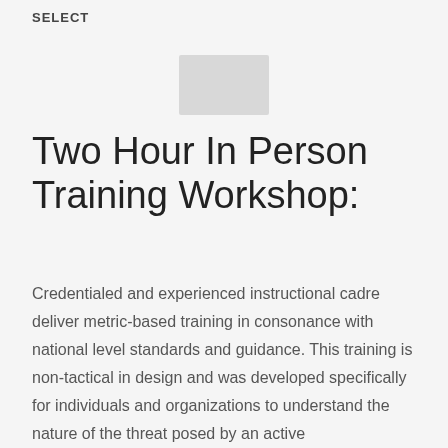SELECT
[Figure (photo): Small rectangular image placeholder in light gray, centered near top of page]
Two Hour In Person Training Workshop:
Credentialed and experienced instructional cadre deliver metric-based training in consonance with national level standards and guidance. This training is non-tactical in design and was developed specifically for individuals and organizations to understand the nature of the threat posed by an active assailant/active shooter. With a focus on common sense application, this training covers awareness of the threat and preparedness should an